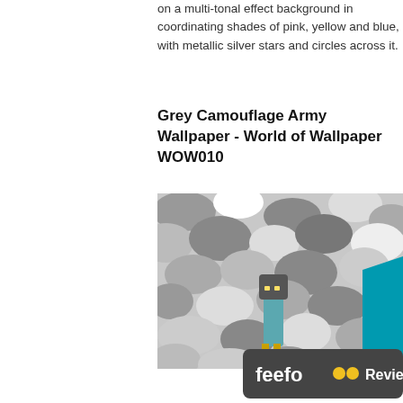on a multi-tonal effect background in coordinating shades of pink, yellow and blue, with metallic silver stars and circles across it.
Grey Camouflage Army Wallpaper - World of Wallpaper WOW010
[Figure (photo): A photo of a grey camouflage army wallpaper with a small figurine character placed in front of it and a blue cloth visible on the right side.]
[Figure (logo): Feefo Reviews logo/banner with dark background showing 'feefo' text with two yellow circles as eyes and 'Reviews' text next to it.]